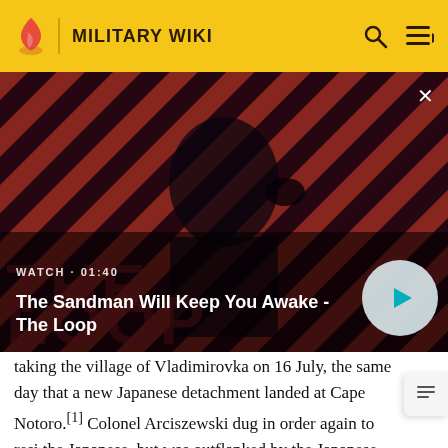MILITARY WIKI
[Figure (screenshot): Video thumbnail showing a man in dark clothing with a crow on his shoulder against a red and black diagonal stripe background. Title card reads 'The Sandman Will Keep You Awake - The Loop'. Watch time shown as 01:40. Play button visible on right.]
taking the village of Vladimirovka on 16 July, the same day that a new Japanese detachment landed at Cape Notoro.[1] Colonel Arciszewski dug in order again to resist the Japanese, but was outflanked by the Japanese and was forced to flee into the moutainous interior of the island. He surrendered with his remaining men on 16 July